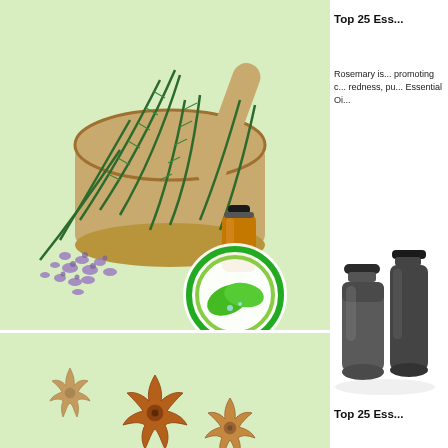[Figure (photo): Rosemary sprigs with purple flowers in a wooden mortar and pestle, with an essential oil bottle and green leaf logo on a light green background]
Top 25 Ess...
Rosemary is... promoting c... redness, pu... Essential Oi...
[Figure (photo): Two dark essential oil bottles/rollers on white background]
Top 25 Ess...
[Figure (photo): Star anise on light green background]